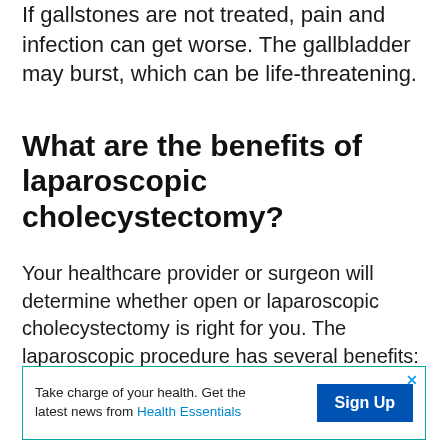If gallstones are not treated, pain and infection can get worse. The gallbladder may burst, which can be life-threatening.
What are the benefits of laparoscopic cholecystectomy?
Your healthcare provider or surgeon will determine whether open or laparoscopic cholecystectomy is right for you. The laparoscopic procedure has several benefits:
Less pain.
[Figure (other): Advertisement banner: 'Take charge of your health. Get the latest news from Health Essentials' with a blue Sign Up button and a teal border.]